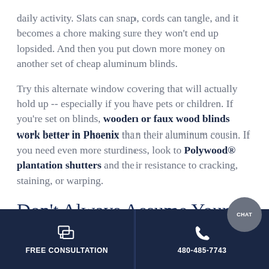daily activity. Slats can snap, cords can tangle, and it becomes a chore making sure they won't end up lopsided. And then you put down more money on another set of cheap aluminum blinds.
Try this alternate window covering that will actually hold up -- especially if you have pets or children. If you're set on blinds, wooden or faux wood blinds work better in Phoenix than their aluminum cousin. If you need even more sturdiness, look to Polywood® plantation shutters and their resistance to cracking, staining, or warping.
Don't Always Assume Your
FREE CONSULTATION | 480-485-7743 | CHAT